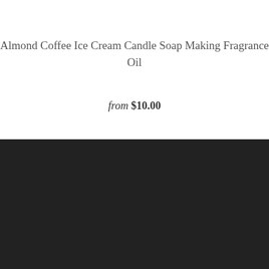Almond Coffee Ice Cream Candle Soap Making Fragrance Oil
from $10.00
[Figure (infographic): Four circular social media icons (Facebook, Pinterest, Instagram, Email) with white outlines on dark background]
Search
Privacy Terms
About Us